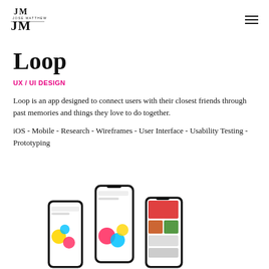[Figure (logo): JM / Jose Matthews stylized logo mark with letters JM stacked]
Loop
UX / UI DESIGN
Loop is an app designed to connect users with their closest friends through past memories and things they love to do together.
iOS - Mobile - Research - Wireframes - User Interface - Usability Testing - Prototyping
[Figure (photo): Three smartphones showing the Loop app interface including colorful circle elements and photo grids]